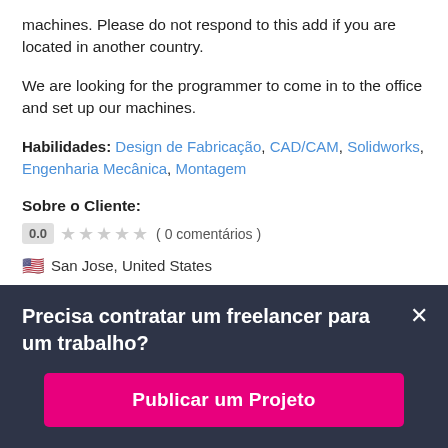machines. Please do not respond to this add if you are located in another country.
We are looking for the programmer to come in to the office and set up our machines.
Habilidades: Design de Fabricação, CAD/CAM, Solidworks, Engenharia Mecânica, Montagem
Sobre o Cliente:
0.0  ★★★★★ ( 0 comentários )
🇺🇸 San Jose, United States
Precisa contratar um freelancer para um trabalho?
Publicar um Projeto